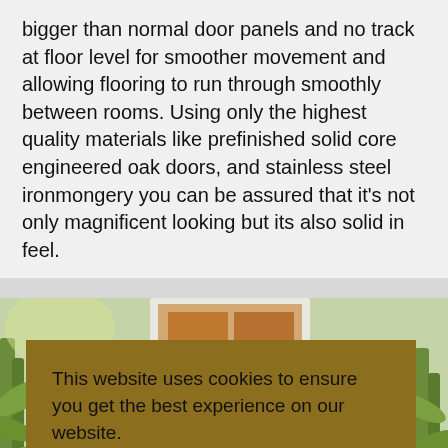bigger than normal door panels and no track at floor level for smoother movement and allowing flooring to run through smoothly between rooms. Using only the highest quality materials like prefinished solid core engineered oak doors, and stainless steel ironmongery you can be assured that it's not only magnificent looking but its also solid in feel.
[Figure (photo): Interior room scene showing wooden sliding/pocket doors with bamboo plants on green-painted walls, partially obscured by a cookie consent overlay banner.]
This website uses cookies to ensure you get the best experience on our website.
More Information
Accept & Close